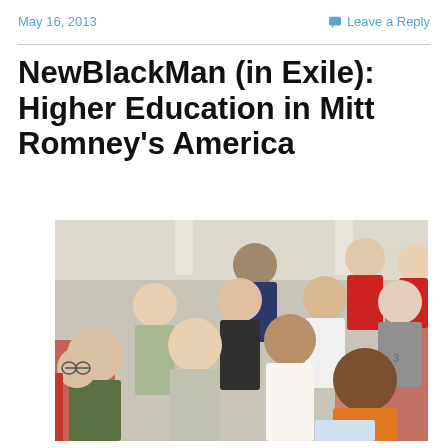May 16, 2013
Leave a Reply
NewBlackMan (in Exile): Higher Education in Mitt Romney's America
[Figure (photo): Photograph of a diverse group of college students sitting in a lecture hall with red seats, attentively listening to a class. Students of various ethnicities are visible, including a young Black woman in an orange top in the foreground.]